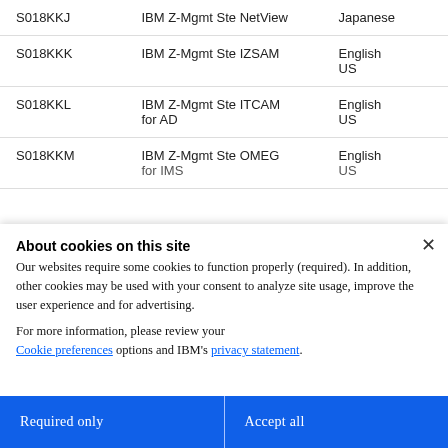|  |  |  |
| --- | --- | --- |
| S018KKJ | IBM Z-Mgmt Ste NetView | Japanese |
| S018KKK | IBM Z-Mgmt Ste IZSAM | English US |
| S018KKL | IBM Z-Mgmt Ste ITCAM for AD | English US |
| S018KKM | IBM Z-Mgmt Ste OMEG for IMS | English US |
About cookies on this site
Our websites require some cookies to function properly (required). In addition, other cookies may be used with your consent to analyze site usage, improve the user experience and for advertising.
For more information, please review your Cookie preferences options and IBM's privacy statement.